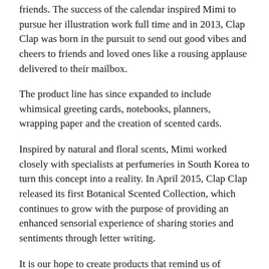friends. The success of the calendar inspired Mimi to pursue her illustration work full time and in 2013, Clap Clap was born in the pursuit to send out good vibes and cheers to friends and loved ones like a rousing applause delivered to their mailbox.
The product line has since expanded to include whimsical greeting cards, notebooks, planners, wrapping paper and the creation of scented cards.
Inspired by natural and floral scents, Mimi worked closely with specialists at perfumeries in South Korea to turn this concept into a reality. In April 2015, Clap Clap released its first Botanical Scented Collection, which continues to grow with the purpose of providing an enhanced sensorial experience of sharing stories and sentiments through letter writing.
It is our hope to create products that remind us of nature’s beauty the way we treasured it when we were young, collecting pretty things to hold on to. We hope you enjoy and treasure our cards in the same way.